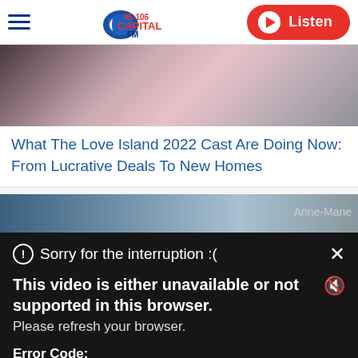95-106 Capital FM | Listen
[Figure (photo): Photo strip showing Love Island 2022 cast members — multiple people in casual/party outfits]
What The Love Island 2022 Cast Are Doing Now: From Lucrative Deals To New Homes
[Figure (photo): Partial photo strip showing circular chrome objects outdoors, with Anne-Marie label visible]
Sorry for the interruption :(

This video is either unavailable or not supported in this browser.
Please refresh your browser.

Error Code:
MEDIA_ERR_SRC_NOT_SUPPORTED